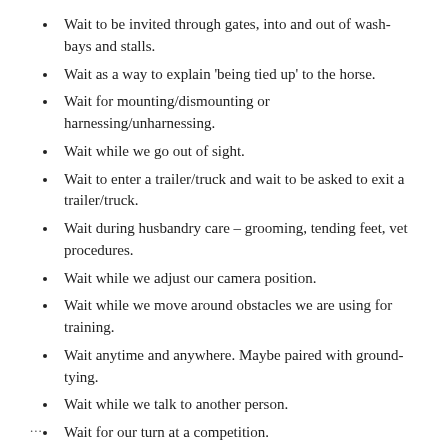Wait to be invited through gates, into and out of wash-bays and stalls.
Wait as a way to explain 'being tied up' to the horse.
Wait for mounting/dismounting or harnessing/unharnessing.
Wait while we go out of sight.
Wait to enter a trailer/truck and wait to be asked to exit a trailer/truck.
Wait during husbandry care – grooming, tending feet, vet procedures.
Wait while we adjust our camera position.
Wait while we move around obstacles we are using for training.
Wait anytime and anywhere. Maybe paired with ground-tying.
Wait while we talk to another person.
Wait for our turn at a competition.
...